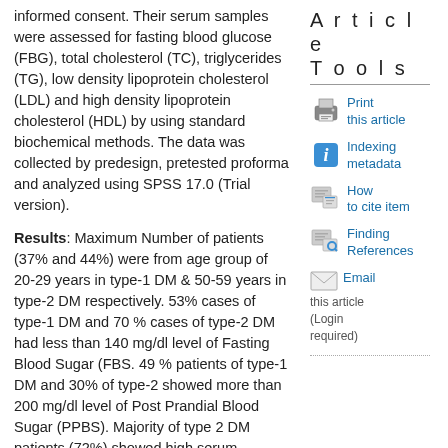informed consent. Their serum samples were assessed for fasting blood glucose (FBG), total cholesterol (TC), triglycerides (TG), low density lipoprotein cholesterol (LDL) and high density lipoprotein cholesterol (HDL) by using standard biochemical methods. The data was collected by predesign, pretested proforma and analyzed using SPSS 17.0 (Trial version).
Results: Maximum Number of patients (37% and 44%) were from age group of 20-29 years in type-1 DM & 50-59 years in type-2 DM respectively. 53% cases of type-1 DM and 70 % cases of type-2 DM had less than 140 mg/dl level of Fasting Blood Sugar (FBS. 49 % patients of type-1 DM and 30% of type-2 showed more than 200 mg/dl level of Post Prandial Blood Sugar (PPBS). Majority of type 2 DM patients (72%) showed high serum cholesterol level, while only 12% of the type1 DM patients showed high serum cholesterol level. 95% of type 1 DM patients showed normal (10-190 mg/dl) serum triglyceride level, while only 26% of type 2 DM subjects showed normal level. Serum LDL level
Article Tools
Print this article
Indexing metadata
How to cite item
Finding References
Email this article (Login required)